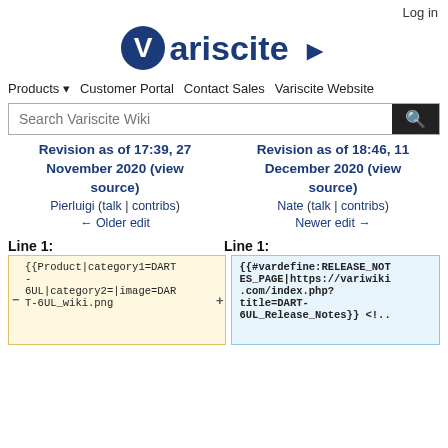Log in
[Figure (logo): Variscite logo with blue circle V and arrow]
Products ▾   Customer Portal   Contact Sales   Variscite Website
Search Variscite Wiki
Revision as of 17:39, 27 November 2020 (view source)
Pierluigi (talk | contribs)
← Older edit
Revision as of 18:46, 11 December 2020 (view source)
Nate (talk | contribs)
Newer edit →
Line 1:
Line 1:
{{Product|category1=DART-6UL|category2=|image=DART-6UL_wiki.png
{{#vardefine:RELEASE_NOTES_PAGE|https://variwiki.com/index.php?title=DART-6UL_Release_Notes}} <!...